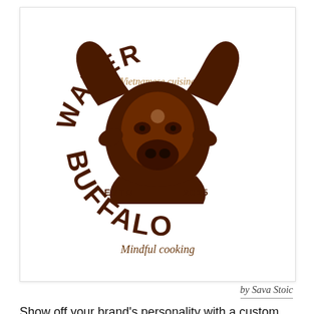[Figure (logo): Water Buffalo Vietnamese cuisine restaurant logo. Dark brown vintage-style badge featuring a water buffalo head in the center, with arched text 'WATER' at the top, 'Vietnamese cuisine' in script below that, 'ESTD' on the left and '2015' on the right flanking the buffalo head, 'BUFFALO' in large arched letters at the bottom, and 'Mindful cooking' in script at the very bottom.]
by Sava Stoic
Show off your brand’s personality with a custom buffalo logo designed just for you by a professional designer. Need ideas? We’ve collected some